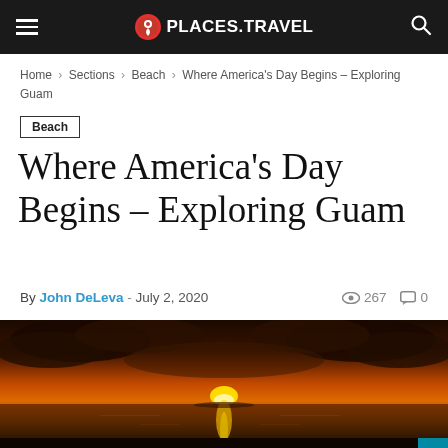PLACES.TRAVEL
Home › Sections › Beach › Where America's Day Begins – Exploring Guam
Beach
Where America's Day Begins – Exploring Guam
By John DeLeva - July 2, 2020   267   0
[Figure (photo): Sunset over calm ocean water with dramatic orange and red sky and dark clouds, rays of sunlight reflecting on the water surface]